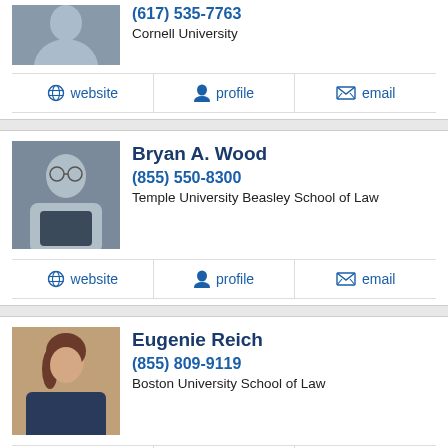(617) 535-7763
Cornell University
website  profile  email
Bryan A. Wood
(855) 550-8300
Temple University Beasley School of Law
website  profile  email
Eugenie Reich
(855) 809-9119
Boston University School of Law
website  profile  email